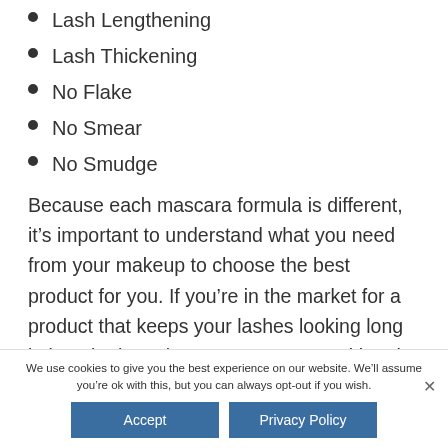Lash Lengthening
Lash Thickening
No Flake
No Smear
No Smudge
Because each mascara formula is different, it’s important to understand what you need from your makeup to choose the best product for you. If you’re in the market for a product that keeps your lashes looking long in length, then choose a mascara and brush
We use cookies to give you the best experience on our website. We’ll assume you’re ok with this, but you can always opt-out if you wish.
Accept | Privacy Policy